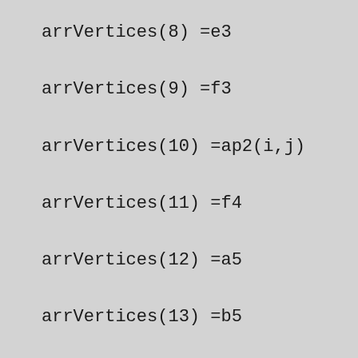arrVertices(8) =e3
arrVertices(9) =f3
arrVertices(10) =ap2(i,j)
arrVertices(11) =f4
arrVertices(12) =a5
arrVertices(13) =b5
arrVertices(14) =d5